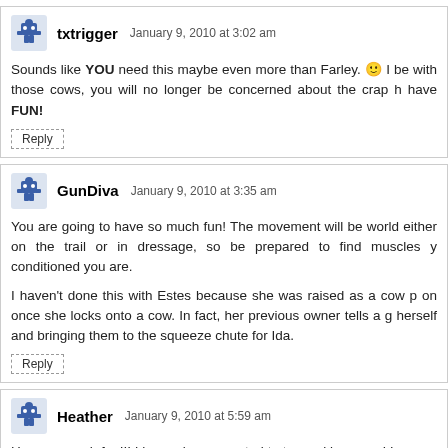txtrigger — January 9, 2010 at 3:02 am
Sounds like YOU need this maybe even more than Farley. :) I be with those cows, you will no longer be concerned about the crap have FUN!
GunDiva — January 9, 2010 at 3:35 am
You are going to have so much fun! The movement will be world either on the trail or in dressage, so be prepared to find muscles y conditioned you are.
I haven't done this with Estes because she was raised as a cow p on once she locks onto a cow. In fact, her previous owner tells a g herself and bringing them to the squeeze chute for Ida.
Heather — January 9, 2010 at 5:59 am
Have so much fun!!! I have always wanted to try working cows! Le